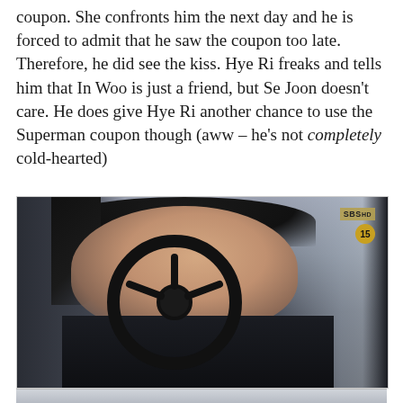coupon. She confronts him the next day and he is forced to admit that he saw the coupon too late. Therefore, he did see the kiss. Hye Ri freaks and tells him that In Woo is just a friend, but Se Joon doesn't care. He does give Hye Ri another chance to use the Superman coupon though (aww – he's not completely cold-hearted)
[Figure (photo): A woman sitting in the driver's seat of a car, gripping the steering wheel. She has dark hair and is wearing dark clothing. An SBS HD watermark and a '15' rating badge appear in the top right corner of the image.]
[Figure (photo): Partial view of another image at the bottom of the page, cut off.]